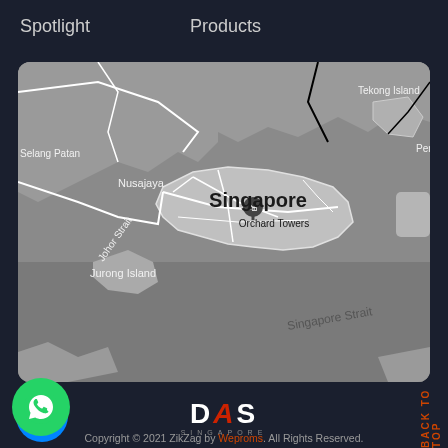Spotlight    Products
[Figure (map): Grayscale map of Singapore and surrounding region showing Johor Strait, Nusajaya, Selang Patan, Tekong Island, Peng, Jurong Island, Orchard Towers pin, Singapore label, Singapore Strait]
[Figure (logo): Facebook Messenger circular blue button icon]
[Figure (logo): Small flag-like icon]
[Figure (logo): WhatsApp circular green button icon]
[Figure (logo): DAS Singapore logo with text DAS and Singapore subtitle]
BACK TO TOP
Copyright © 2021 ZikZag by Weproms. All Rights Reserved.